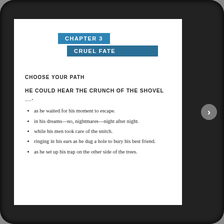CHAPTER 3
CRUEL FATE
CHOOSE YOUR PATH
HE COULD HEAR THE CRUNCH OF THE SHOVEL __.
as he waited for his moment to escape.
in his dreams—no, nightmares—night after night.
while his men took care of the snitch.
ringing in his ears as he dug a hole to bury his best friend.
as he set up his trap on the other side of the trees.